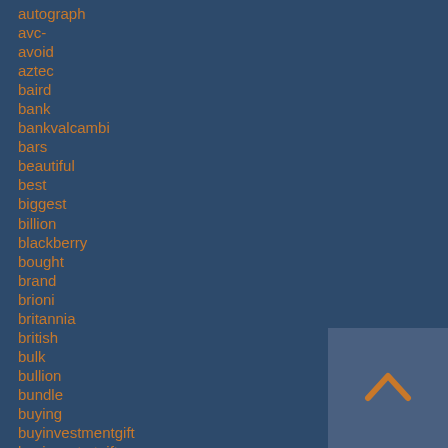autograph
avc-
avoid
aztec
baird
bank
bankvalcambi
bars
beautiful
best
biggest
billion
blackberry
bought
brand
brioni
britannia
british
bulk
bullion
bundle
buying
buyinvestmentgift
buyinvestmtgift
canada
canadian
[Figure (other): Navigation button with upward chevron arrow in orange on a gray-blue square background]